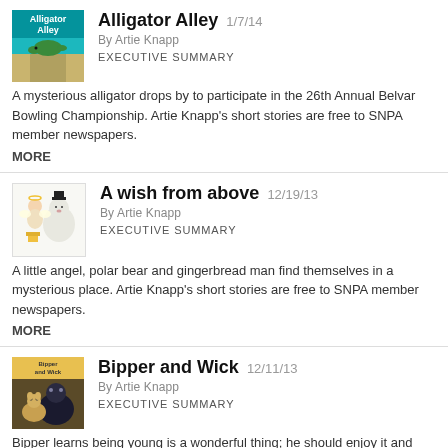[Figure (illustration): Alligator Alley book cover with teal/green background and alligator illustration]
Alligator Alley 1/7/14
By Artie Knapp
EXECUTIVE SUMMARY
A mysterious alligator drops by to participate in the 26th Annual Belvar Bowling Championship. Artie Knapp's short stories are free to SNPA member newspapers.
MORE
[Figure (illustration): A wish from above book cover with cartoon angel and polar bear characters]
A wish from above 12/19/13
By Artie Knapp
EXECUTIVE SUMMARY
A little angel, polar bear and gingerbread man find themselves in a mysterious place. Artie Knapp's short stories are free to SNPA member newspapers.
MORE
[Figure (illustration): Bipper and Wick book cover with animal characters]
Bipper and Wick 12/11/13
By Artie Knapp
EXECUTIVE SUMMARY
Bipper learns being young is a wonderful thing; he should enjoy it and have fun. Artie Knapp's short stories are free to SNPA member newspapers.
MORE